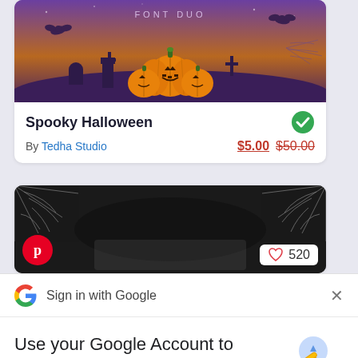[Figure (screenshot): Halloween font product card with purple gradient background showing jack-o-lanterns and bats, titled 'FONT DUO']
Spooky Halloween
By Tedha Studio  $5.00 $50.00
[Figure (screenshot): Partial second product card with dark background showing spiderweb design, Pinterest badge, and 520 heart count]
[Figure (screenshot): Google Sign-in popup dialog showing 'Sign in with Google' header with Google G logo and close X button]
Use your Google Account to sign in to creativefabrica.com
No more passwords to remember. Signing in is fast, simple and secure.
Continue